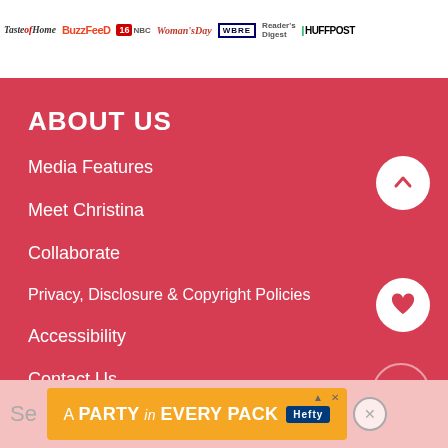[Figure (logo): Row of media brand logos: Taste of Home, BuzzFeed, 16 NBC, Woman's Day, WBRE, Reader's Digest, HuffPost]
ABOUT US
Media Features
Meet Christina
Collaborate
Privacy, Disclosure & Copyright Policies
Accessibility
Contact Us
[Figure (screenshot): Advertisement banner: A PARTY in EVERY PACK - Hefty]
Se